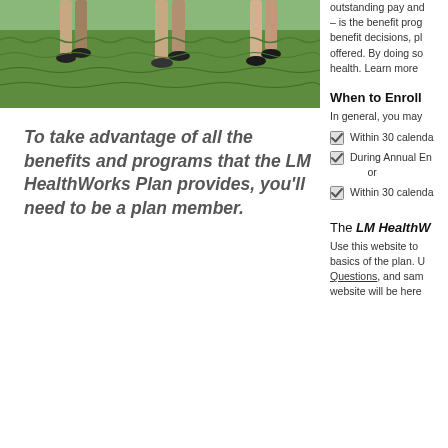[Figure (photo): Photo of people walking on green grass, partially cropped, showing legs and grass background]
To take advantage of all the benefits and programs that the LM HealthWorks Plan provides, you'll need to be a plan member.
outstanding pay and – is the benefit prog benefit decisions, pl offered. By doing so health. Learn more
When to Enroll
In general, you may
Within 30 calenda
During Annual En or
Within 30 calenda
The LM HealthW
Use this website to basics of the plan. U Frequently Asked Questions, and sam website will be here